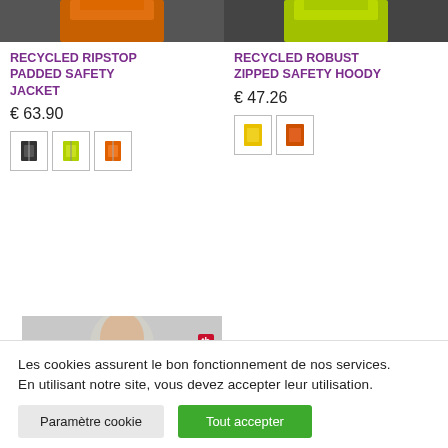[Figure (photo): Partial product photo of person wearing orange high-visibility safety jacket]
[Figure (photo): Partial product photo of person wearing yellow-green high-visibility safety trousers]
RECYCLED RIPSTOP PADDED SAFETY JACKET
€ 63.90
[Figure (other): Three color swatches: dark/navy, yellow-green, orange]
RECYCLED ROBUST ZIPPED SAFETY HOODY
€ 47.26
[Figure (other): Two color swatches: yellow-green, orange]
[Figure (photo): Product photo of man wearing yellow-green high-visibility zipped hoody with red brand badge]
Les cookies assurent le bon fonctionnement de nos services. En utilisant notre site, vous devez accepter leur utilisation.
Paramètre cookie
Tout accepter